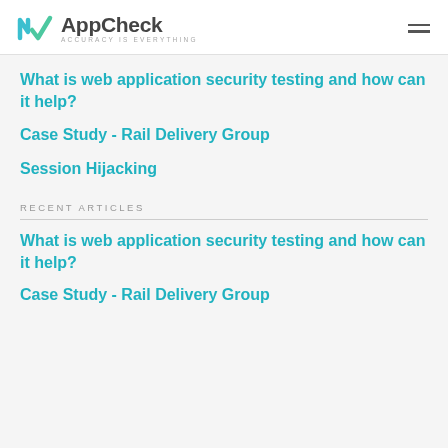AppCheck — ACCURACY IS EVERYTHING
What is web application security testing and how can it help?
Case Study - Rail Delivery Group
Session Hijacking
RECENT ARTICLES
What is web application security testing and how can it help?
Case Study - Rail Delivery Group